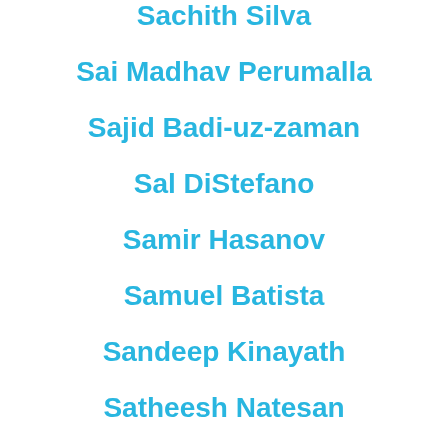Sachith Silva
Sai Madhav Perumalla
Sajid Badi-uz-zaman
Sal DiStefano
Samir Hasanov
Samuel Batista
Sandeep Kinayath
Satheesh Natesan
Sayantan Saha